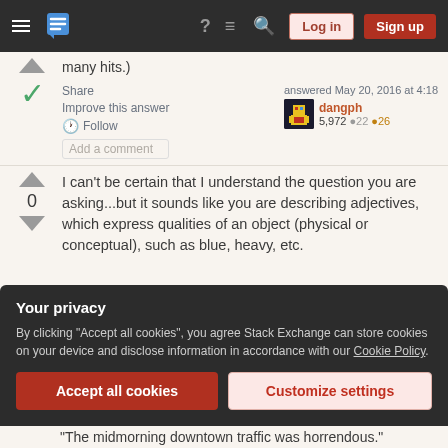Stack Exchange navigation bar with Log in and Sign up buttons
many hits.)
Share   Improve this answer   Follow   Add a comment   answered May 20, 2016 at 4:18   dangph   5,972 ●22 ●26
I can't be certain that I understand the question you are asking...but it sounds like you are describing adjectives, which express qualities of an object (physical or conceptual), such as blue, heavy, etc.
Your privacy
By clicking "Accept all cookies", you agree Stack Exchange can store cookies on your device and disclose information in accordance with our Cookie Policy.
Accept all cookies   Customize settings
"The midmorning downtown traffic was horrendous."